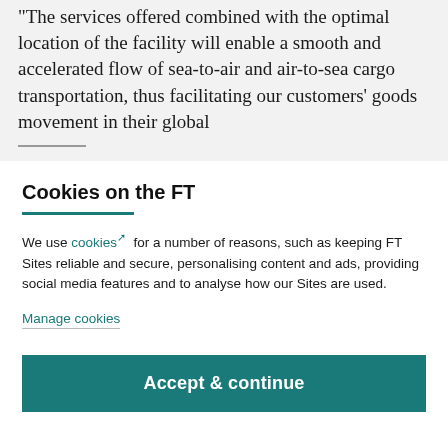"The services offered combined with the optimal location of the facility will enable a smooth and accelerated flow of sea-to-air and air-to-sea cargo transportation, thus facilitating our customers' goods movement in their global
Cookies on the FT
We use cookies for a number of reasons, such as keeping FT Sites reliable and secure, personalising content and ads, providing social media features and to analyse how our Sites are used.
Manage cookies
Accept & continue